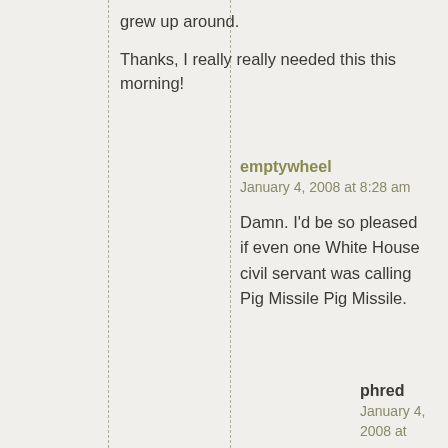grew up around.

Thanks, I really really needed this this morning!
emptywheel
January 4, 2008 at 8:28 am

Damn. I'd be so pleased if even one White House civil servant was calling Pig Missile Pig Missile.
phred
January 4, 2008 at